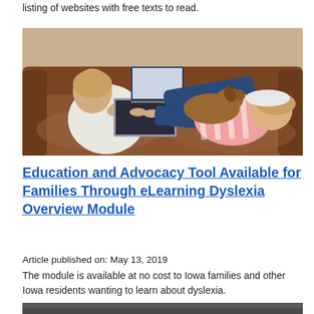listing of websites with free texts to read.
[Figure (photo): Two children sitting on a brown leather sofa; one using a laptop computer, the other lying down cuddling a dog]
Education and Advocacy Tool Available for Families Through eLearning Dyslexia Overview Module
Article published on: May 13, 2019
The module is available at no cost to Iowa families and other Iowa residents wanting to learn about dyslexia.
[Figure (photo): Partial photo visible at bottom of page]